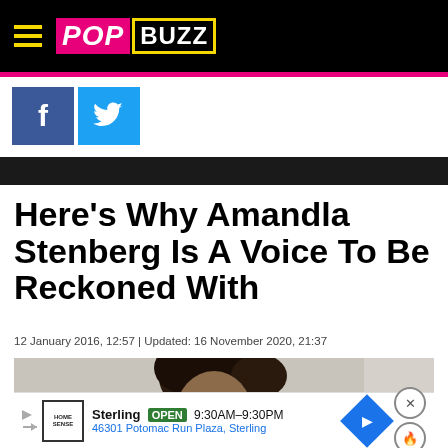PopBuzz
[Figure (logo): PopBuzz logo with hamburger menu on black background]
[Figure (infographic): Social share buttons: Facebook (blue) and Twitter (light blue)]
Here’s Why Amandla Stenberg Is A Voice To Be Reckoned With
12 January 2016, 12:57 | Updated: 16 November 2020, 21:37
[Figure (photo): Photo of Amandla Stenberg with curly hair, partially visible]
Sterling  OPEN  9:30AM–9:30PM  46301 Potomac Run Plaza, Sterling